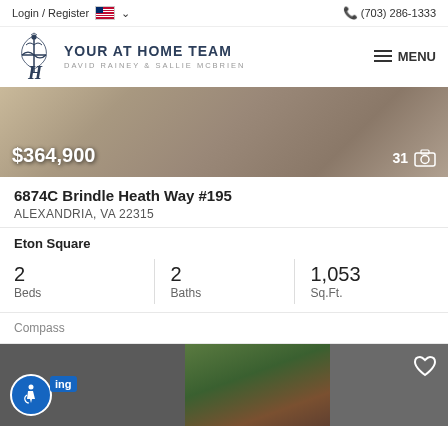Login / Register  (703) 286-1333
[Figure (logo): Your At Home Team logo with stylized H monogram. Text: YOUR AT HOME TEAM, DAVID RAINEY & SALLIE MCBRIEN]
[Figure (photo): Interior property photo showing furniture/living space with price overlay $364,900 and photo count 31]
6874C Brindle Heath Way #195
ALEXANDRIA, VA 22315
Eton Square
| Beds | Baths | Sq.Ft. |
| --- | --- | --- |
| 2 | 2 | 1,053 |
Compass
[Figure (screenshot): Bottom strip showing accessibility icon with 'ing' tag label, partial photo of building exterior with trees, and heart/favorite icon on right]